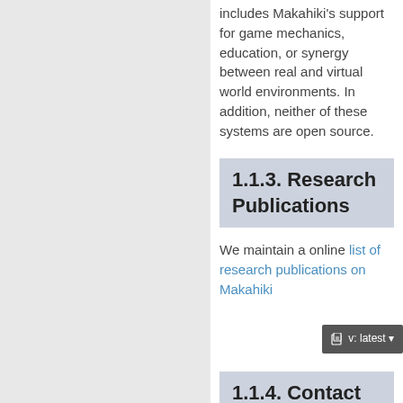includes Makahiki's support for game mechanics, education, or synergy between real and virtual world environments. In addition, neither of these systems are open source.
1.1.3. Research Publications
We maintain a online list of research publications on Makahiki
1.1.4. Contact